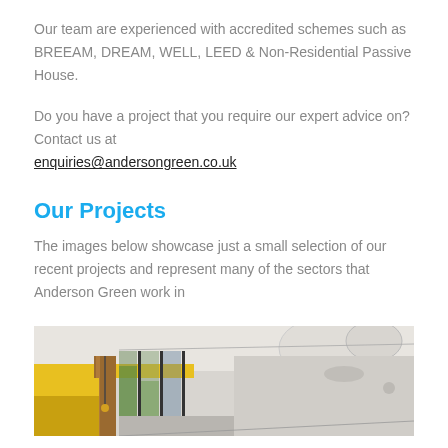Our team are experienced with accredited schemes such as BREEAM, DREAM, WELL, LEED & Non-Residential Passive House.
Do you have a project that you require our expert advice on? Contact us at enquiries@andersongreen.co.uk
Our Projects
The images below showcase just a small selection of our recent projects and represent many of the sectors that Anderson Green work in
[Figure (photo): Interior photo of a modern building space with wooden columns, large glass windows, yellow ceiling elements, and circular white ceiling decorations.]